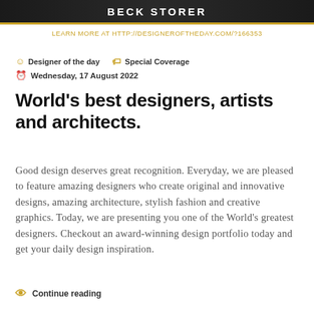BECK STORER
LEARN MORE AT HTTP://DESIGNEROFTHEDAY.COM/?166353
Designer of the day   Special Coverage   Wednesday, 17 August 2022
World's best designers, artists and architects.
Good design deserves great recognition. Everyday, we are pleased to feature amazing designers who create original and innovative designs, amazing architecture, stylish fashion and creative graphics. Today, we are presenting you one of the World's greatest designers. Checkout an award-winning design portfolio today and get your daily design inspiration.
Continue reading